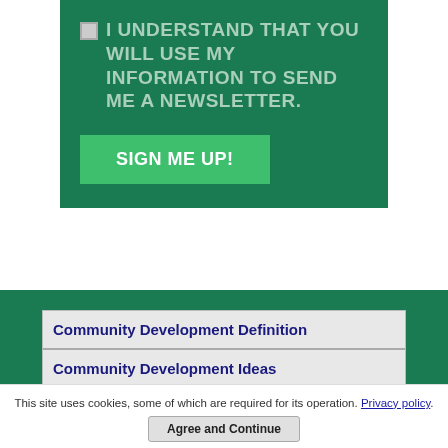I UNDERSTAND THAT YOU WILL USE MY INFORMATION TO SEND ME A NEWSLETTER.
SIGN ME UP!
Community Development Definition
Community Development Ideas
Community Improvement Projects
Community Organizations
This site uses cookies, some of which are required for its operation. Privacy policy.
Agree and Continue